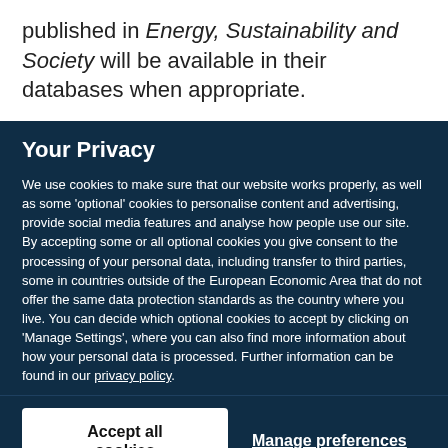published in Energy, Sustainability and Society will be available in their databases when appropriate.
Your Privacy
We use cookies to make sure that our website works properly, as well as some 'optional' cookies to personalise content and advertising, provide social media features and analyse how people use our site. By accepting some or all optional cookies you give consent to the processing of your personal data, including transfer to third parties, some in countries outside of the European Economic Area that do not offer the same data protection standards as the country where you live. You can decide which optional cookies to accept by clicking on 'Manage Settings', where you can also find more information about how your personal data is processed. Further information can be found in our privacy policy.
Accept all cookies
Manage preferences